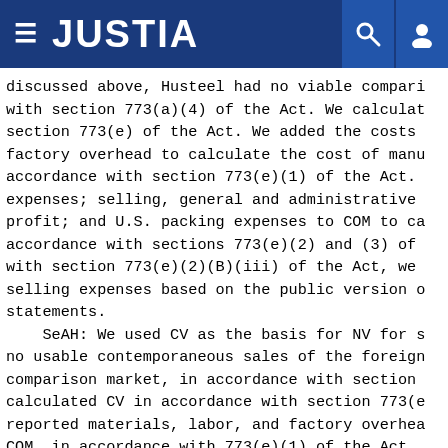JUSTIA
discussed above, Husteel had no viable compari with section 773(a)(4) of the Act. We calculat section 773(e) of the Act. We added the costs factory overhead to calculate the cost of manu accordance with section 773(e)(1) of the Act. expenses; selling, general and administrative profit; and U.S. packing expenses to COM to ca accordance with sections 773(e)(2) and (3) of with section 773(e)(2)(B)(iii) of the Act, we selling expenses based on the public version o statements.
    SeAH: We used CV as the basis for NV for s no usable contemporaneous sales of the foreign comparison market, in accordance with section calculated CV in accordance with section 773(e reported materials, labor, and factory overhea COM, in accordance with 773(e)(1) of the Act.